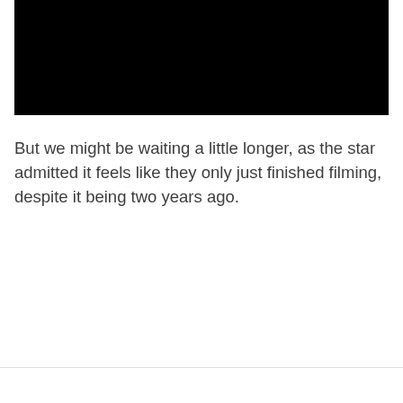[Figure (photo): Black rectangle representing a video or image placeholder at the top of the page]
But we might be waiting a little longer, as the star admitted it feels like they only just finished filming, despite it being two years ago.